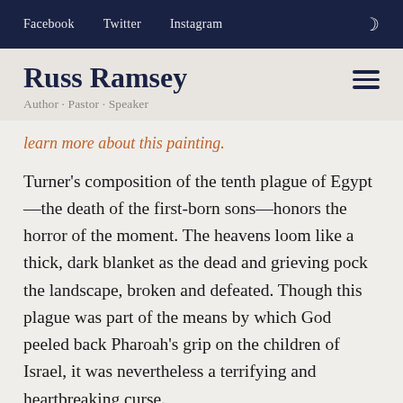Facebook  Twitter  Instagram
Russ Ramsey
Author · Pastor · Speaker
learn more about this painting.
Turner's composition of the tenth plague of Egypt—the death of the first-born sons—honors the horror of the moment. The heavens loom like a thick, dark blanket as the dead and grieving pock the landscape, broken and defeated. Though this plague was part of the means by which God peeled back Pharoah's grip on the children of Israel, it was nevertheless a terrifying and heartbreaking curse.